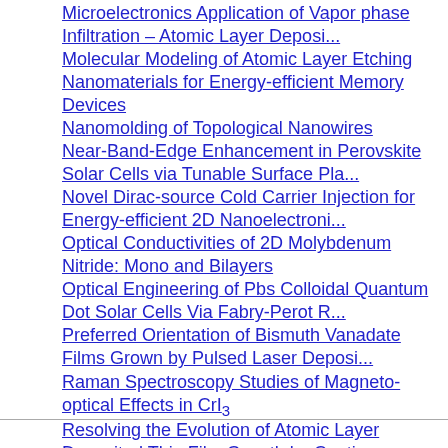Microelectronics Application of Vapor phase Infiltration – Atomic Layer Deposition
Molecular Modeling of Atomic Layer Etching
Nanomaterials for Energy-efficient Memory Devices
Nanomolding of Topological Nanowires
Near-Band-Edge Enhancement in Perovskite Solar Cells via Tunable Surface Plasmonics
Novel Dirac-source Cold Carrier Injection for Energy-efficient 2D Nanoelectronics
Optical Conductivities of 2D Molybdenum Nitride: Mono and Bilayers
Optical Engineering of Pbs Colloidal Quantum Dot Solar Cells Via Fabry-Perot Resonances
Preferred Orientation of Bismuth Vanadate Films Grown by Pulsed Laser Deposition
Raman Spectroscopy Studies of Magneto-optical Effects in CrI₃
Resolving the Evolution of Atomic Layer Deposited Thin Film Growth by Continuum
Solution Processible Carbon Precursors for 2D Amorphous Carbon Dielectric
Stable Perovskite Solar Cells
Study on Nanostructured Molybdenum Carbide for Hydrogen Evolution Reaction
Synthesis and Integration of Transition Metal Dichalcogenides
Synthesis of Atomically Precise Graphene Nanoribbons with Tunable Electronic
Synthesis, Nanofabrication and Characterization of 2D Magnetic Semiconductors
Toward Scalable Fabrication of Stable Metal Halide Perovskite Solar Cells Through
Two Dimensional Materials for Neuromorphic Computing
Unique Molecular Approach to 2D Tin Chalcogenide Materials by Single-Source
Wafer-scale Heterogeneous Integration of Atomically Thin Electronic Materials on